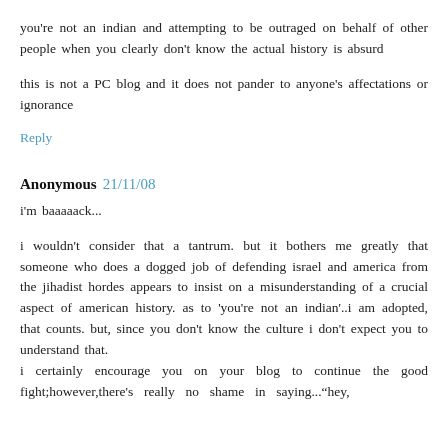you're not an indian and attempting to be outraged on behalf of other people when you clearly don't know the actual history is absurd
this is not a PC blog and it does not pander to anyone's affectations or ignorance
Reply
Anonymous 21/11/08
i'm baaaaack...
i wouldn't consider that a tantrum. but it bothers me greatly that someone who does a dogged job of defending israel and america from the jihadist hordes appears to insist on a misunderstanding of a crucial aspect of american history. as to 'you're not an indian'..i am adopted, that counts. but, since you don't know the culture i don't expect you to understand that.
i certainly encourage you on your blog to continue the good fight;however,there's really no shame in saying..."hey,